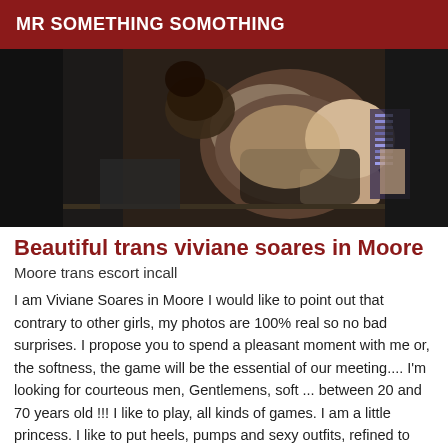MR SOMETHING SOMOTHING
[Figure (photo): A photo of a person on a bed, dimly lit room with purple LED lighting visible in background]
Beautiful trans viviane soares in Moore
Moore trans escort incall
I am Viviane Soares in Moore I would like to point out that contrary to other girls, my photos are 100% real so no bad surprises. I propose you to spend a pleasant moment with me or, the softness, the game will be the essential of our meeting.... I'm looking for courteous men, Gentlemens, soft ... between 20 and 70 years old !!! I like to play, all kinds of games. I am a little princess. I like to put heels, pumps and sexy outfits, refined to